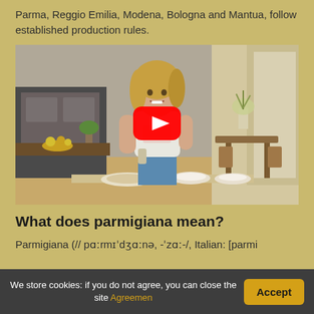Parma, Reggio Emilia, Modena, Bologna and Mantua, follow established production rules.
[Figure (photo): YouTube video thumbnail showing a woman in a kitchen holding a block of cheese, standing at a counter with bowls. A red YouTube play button is overlaid in the center.]
What does parmigiana mean?
Parmigiana (// pɑːrmɪˈdʒɑːnə, -ˈzɑː-/, Italian: [parmi
We store cookies: if you do not agree, you can close the site Agreemen
Accept